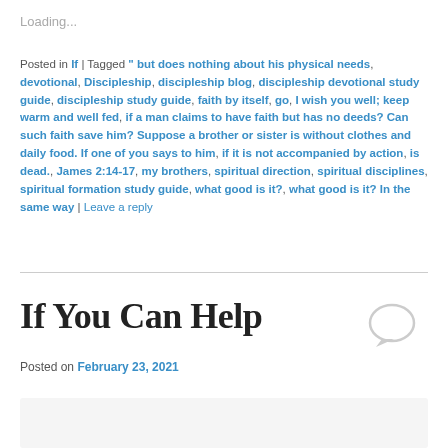Loading...
Posted in If | Tagged " but does nothing about his physical needs, devotional, Discipleship, discipleship blog, discipleship devotional study guide, discipleship study guide, faith by itself, go, I wish you well; keep warm and well fed, if a man claims to have faith but has no deeds? Can such faith save him? Suppose a brother or sister is without clothes and daily food. If one of you says to him, if it is not accompanied by action, is dead., James 2:14-17, my brothers, spiritual direction, spiritual disciplines, spiritual formation study guide, what good is it?, what good is it? In the same way | Leave a reply
If You Can Help
Posted on February 23, 2021